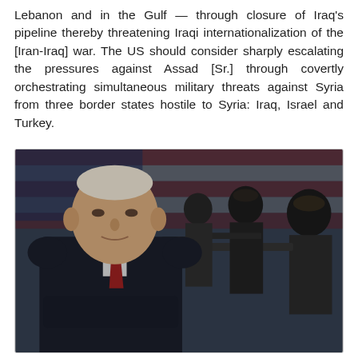Lebanon and in the Gulf — through closure of Iraq's pipeline thereby threatening Iraqi internationalization of the [Iran-Iraq] war. The US should consider sharply escalating the pressures against Assad [Sr.] through covertly orchestrating simultaneous military threats against Syria from three border states hostile to Syria: Iraq, Israel and Turkey.
[Figure (photo): A composite photograph showing a man in a dark suit with a red tie in the foreground, with armed masked figures in the background, and an American flag blurred behind them.]